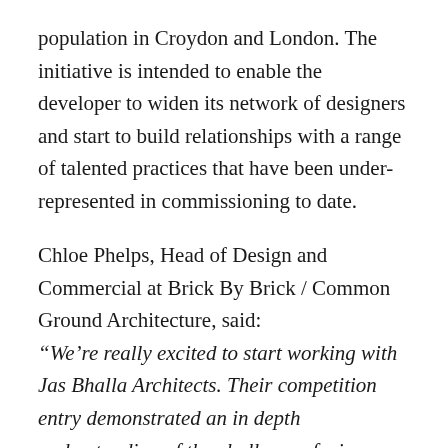population in Croydon and London. The initiative is intended to enable the developer to widen its network of designers and start to build relationships with a range of talented practices that have been under-represented in commissioning to date.
Chloe Phelps, Head of Design and Commercial at Brick By Brick / Common Ground Architecture, said: “We’re really excited to start working with Jas Bhalla Architects. Their competition entry demonstrated an in depth understanding of the challenges facing Croydon in terms of housing quality and high streets, with a clear and intelligent concept. Although we had to name one winner, this process has opened up a new network for us